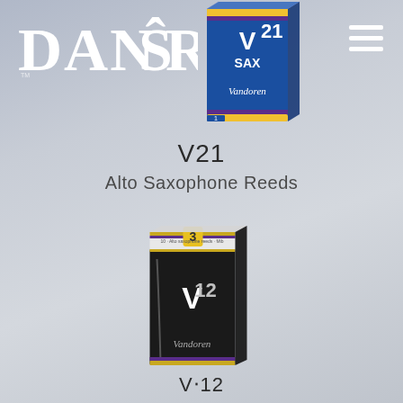[Figure (logo): DANSR logo in white text on gradient background]
[Figure (photo): Vandoren V21 Alto Saxophone Reeds box - blue packaging with V21 SAX branding, angled product shot]
V21
Alto Saxophone Reeds
[Figure (photo): Vandoren V·12 Alto Saxophone Reeds box - white top with yellow number 3 sticker, dark body with V12 Vandoren branding, angled product shot]
V·12